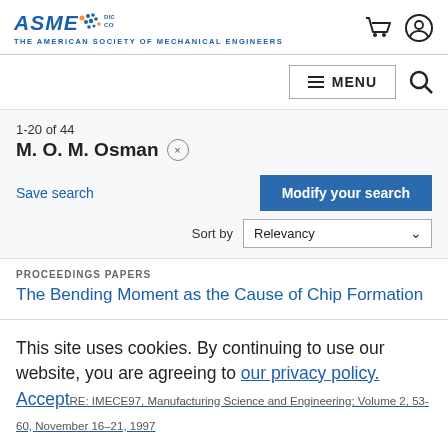ASME Digital Collection — The American Society of Mechanical Engineers
1-20 of 44
M. O. M. Osman ×
Save search
Modify your search
Sort by Relevancy
PROCEEDINGS PAPERS
The Bending Moment as the Cause of Chip Formation
This site uses cookies. By continuing to use our website, you are agreeing to our privacy policy. Accept
ASME IMECE97, Manufacturing Science and Engineering; Volume 2, 53-60, November 16–21, 1997